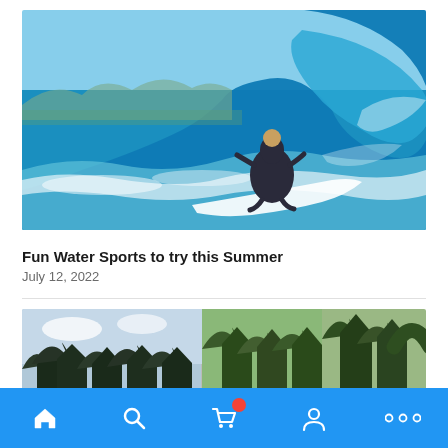[Figure (photo): A surfer crouching on a white surfboard inside a curling ocean wave, turquoise water and white foam, mountains visible in the background]
Fun Water Sports to try this Summer
July 12, 2022
[Figure (photo): Forest scene with tall green trees against a cloudy sky, split into three panel-like sections]
Home, Search, Cart, Account, More navigation bar